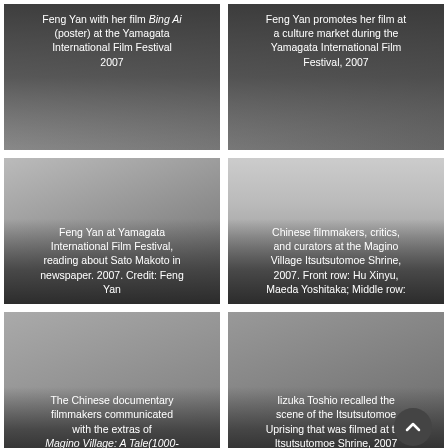[Figure (photo): Photo of Feng Yan with her film Bing Ai (poster) at the Yamagata International Film Festival 2007. Caption overlay at top.]
[Figure (photo): Photo of Feng Yan promoting her film at a culture market during the Yamagata International Film Festival, 2007. Caption overlay at top.]
[Figure (photo): Photo of Feng Yan at Yamagata International Film Festival, reading about Sato Makoto in newspaper. 2007. Credit: Feng Yan. Caption at bottom.]
[Figure (photo): Photo of Chinese filmmakers, critics, and curators at the Magino Village Itsutsutomoe Shrine, 2007. Front row: Hu Xinyu, Maeda Yoshitaka; Middle row listed. Caption at bottom.]
[Figure (photo): Photo related to The Chinese documentary filmmakers communicated with the extras of Magino Village: A Tale(1000-. Caption at bottom.]
[Figure (photo): Photo related to Iizuka Toshio recalled the scene of the Itsutsutomoe Uprising that was filmed at the Itsutsutomoe Shrine, 2007. Caption at bottom.]